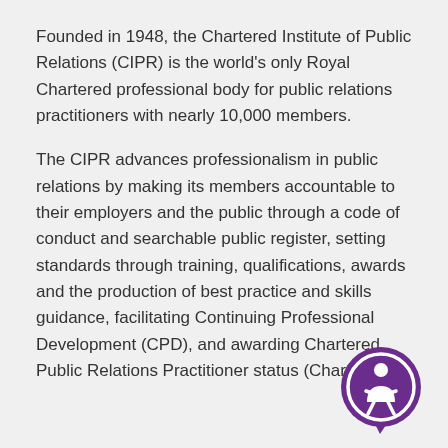Founded in 1948, the Chartered Institute of Public Relations (CIPR) is the world's only Royal Chartered professional body for public relations practitioners with nearly 10,000 members.
The CIPR advances professionalism in public relations by making its members accountable to their employers and the public through a code of conduct and searchable public register, setting standards through training, qualifications, awards and the production of best practice and skills guidance, facilitating Continuing Professional Development (CPD), and awarding Chartered Public Relations Practitioner status (Chart.PR).
[Figure (logo): Purple circular logo with a speech bubble outline and a human figure (accessibility/person icon) in white inside the circle.]